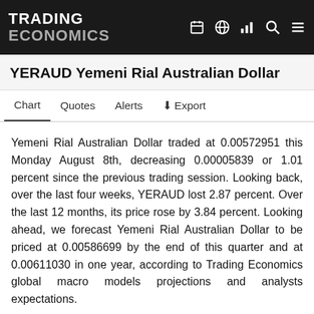TRADING ECONOMICS
YERAUD Yemeni Rial Australian Dollar
Chart  Quotes  Alerts  Export
Yemeni Rial Australian Dollar traded at 0.00572951 this Monday August 8th, decreasing 0.00005839 or 1.01 percent since the previous trading session. Looking back, over the last four weeks, YERAUD lost 2.87 percent. Over the last 12 months, its price rose by 3.84 percent. Looking ahead, we forecast Yemeni Rial Australian Dollar to be priced at 0.00586699 by the end of this quarter and at 0.00611030 in one year, according to Trading Economics global macro models projections and analysts expectations.